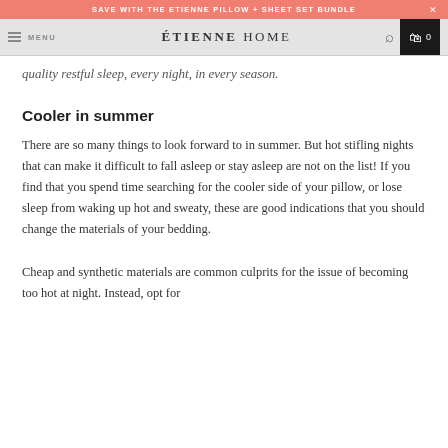SAVE WITH THE ETIENNE PILLOW + SHEET SET BUNDLE
MENU  ÉTIENNE HOME  0
quality restful sleep, every night, in every season.
Cooler in summer
There are so many things to look forward to in summer. But hot stifling nights that can make it difficult to fall asleep or stay asleep are not on the list! If you find that you spend time searching for the cooler side of your pillow, or lose sleep from waking up hot and sweaty, these are good indications that you should change the materials of your bedding.
Cheap and synthetic materials are common culprits for the issue of becoming too hot at night. Instead, opt for